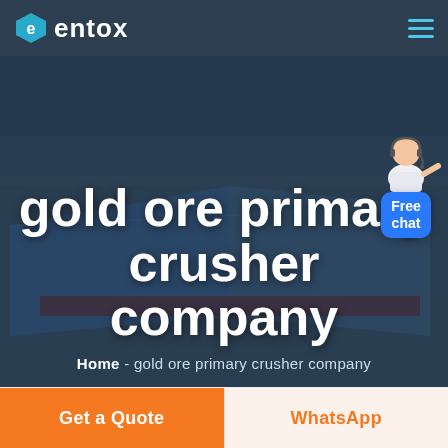entox
[Figure (screenshot): Hero background showing aerial view of industrial factory/warehouse buildings with blue roofs, dark overlay]
gold ore primary crusher company
Home  -  gold ore primary crusher company
[Figure (illustration): Customer service agent figure with Free chat badge in blue]
Get a Quote
WhatsApp